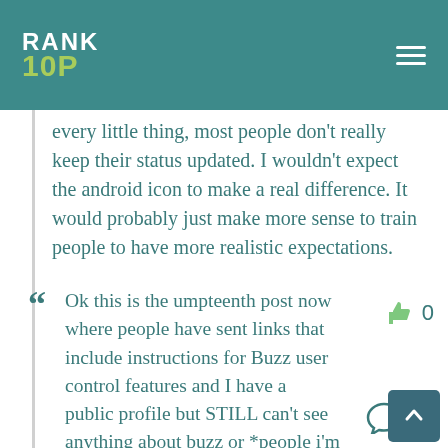RANK 10P
every little thing, most people don't really keep their status updated. I wouldn't expect the android icon to make a real difference. It would probably just make more sense to train people to have more realistic expectations.
Ok this is the umpteenth post now where people have sent links that include instructions for Buzz user control features and I have a public profile but STILL can't see anything about buzz or *people i'm following* anywhere in my Google Profile. Is this not available for everyone yet? Or is it gone because I disabled Buzz in gmail?